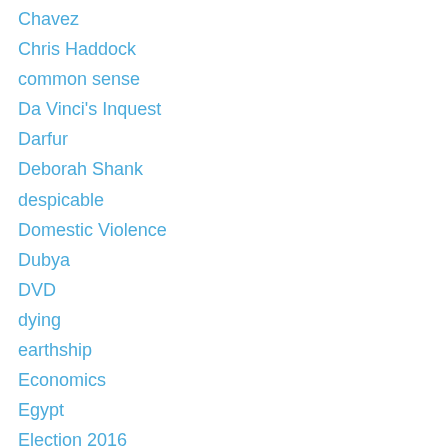Chavez
Chris Haddock
common sense
Da Vinci's Inquest
Darfur
Deborah Shank
despicable
Domestic Violence
Dubya
DVD
dying
earthship
Economics
Egypt
Election 2016
Elections
English
Eve Ensler
evil eye
Food